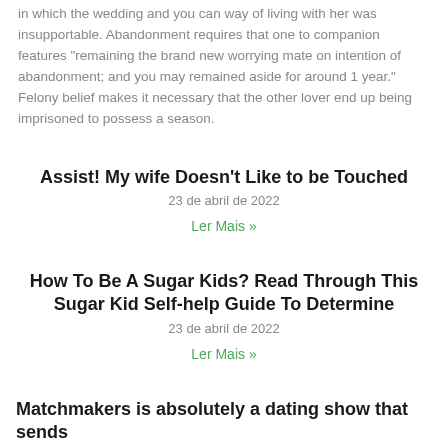in which the wedding and you can way of living with her was insupportable. Abandonment requires that one to companion features “remaining the brand new worrying mate on intention of abandonment; and you may remained aside for around 1 year.” Felony belief makes it necessary that the other lover end up being imprisoned to possess a season.
Assist! My wife Doesn’t Like to be Touched
23 de abril de 2022
Ler Mais »
How To Be A Sugar Kids? Read Through This Sugar Kid Self-help Guide To Determine
23 de abril de 2022
Ler Mais »
Matchmakers is absolutely a dating show that sends